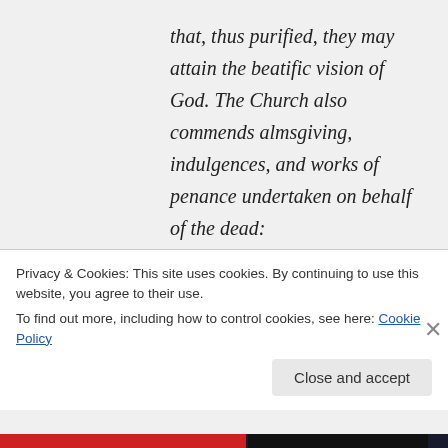that, thus purified, they may attain the beatific vision of God. The Church also commends almsgiving, indulgences, and works of penance undertaken on behalf of the dead: Let us help and commemorate them. If Job's sons were purified by their
Privacy & Cookies: This site uses cookies. By continuing to use this website, you agree to their use.
To find out more, including how to control cookies, see here: Cookie Policy